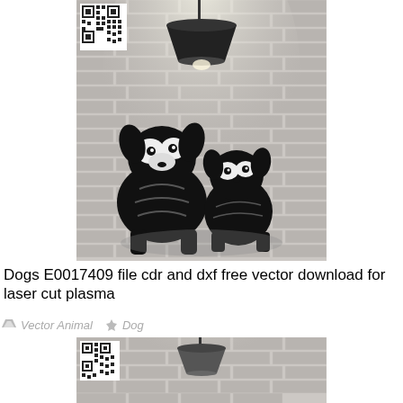[Figure (photo): Photo of two fluffy dog silhouettes (laser cut art) mounted on a white brick wall, illuminated by a black pendant lamp above. A QR code is visible in the upper left corner of the image.]
Dogs E0017409 file cdr and dxf free vector download for laser cut plasma
Vector Animal  Dog
[Figure (photo): Partial photo of a similar laser cut dog artwork on white brick wall with a dark pendant lamp, QR code in upper left. Image is cropped at bottom of page.]